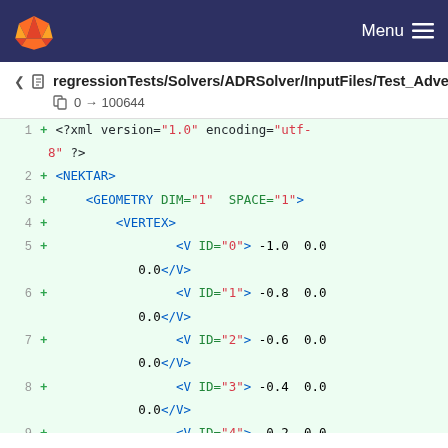Menu
regressionTests/Solvers/ADRSolver/InputFiles/Test_Advection1D_FRDG_GLL_LAGRANGE_SEM.xml  0 → 100644
1  + <?xml version="1.0" encoding="utf-8" ?>
2  + <NEKTAR>
3  +     <GEOMETRY DIM="1" SPACE="1">
4  +         <VERTEX>
5  +                 <V ID="0"> -1.0  0.0  0.0</V>
6  +                 <V ID="1"> -0.8  0.0  0.0</V>
7  +                 <V ID="2"> -0.6  0.0  0.0</V>
8  +                 <V ID="3"> -0.4  0.0  0.0</V>
9  +                 <V ID="4"> -0.2  0.0  0.0</V>
10 +                 <V ID="5">  0.0  0.0